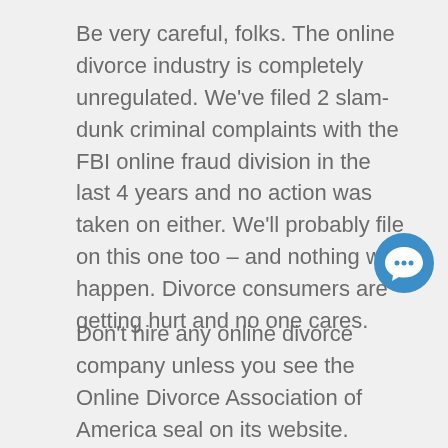Be very careful, folks. The online divorce industry is completely unregulated. We've filed 2 slam-dunk criminal complaints with the FBI online fraud division in the last 4 years and no action was taken on either. We'll probably file on this one too – and nothing will happen. Divorce consumers are getting hurt and no one cares.
Don't hire any online divorce company unless you see the Online Divorce Association of America seal on its website.